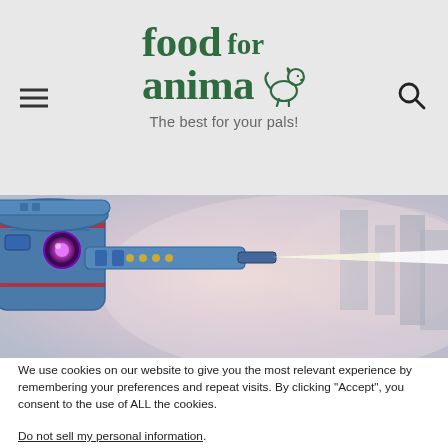[Figure (logo): Food for Animal logo with dog icon and tagline 'The best for your pals!']
[Figure (illustration): Sci-fi robot or mech with glowing purple eye and weapon pointed left, foggy city background]
We use cookies on our website to give you the most relevant experience by remembering your preferences and repeat visits. By clicking “Accept”, you consent to the use of ALL the cookies.
Do not sell my personal information.
Cookie settings   ACCEPT